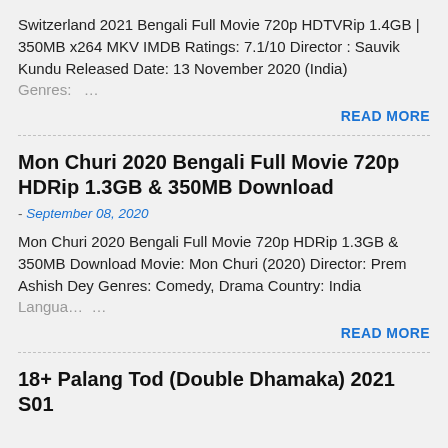Switzerland 2021 Bengali Full Movie 720p HDTVRip 1.4GB | 350MB x264 MKV IMDB Ratings: 7.1/10 Director : Sauvik Kundu Released Date: 13 November 2020 (India) Genres: …
READ MORE
Mon Churi 2020 Bengali Full Movie 720p HDRip 1.3GB & 350MB Download
- September 08, 2020
Mon Churi 2020 Bengali Full Movie 720p HDRip 1.3GB & 350MB Download Movie: Mon Churi (2020) Director: Prem Ashish Dey Genres: Comedy, Drama Country: India Langua… …
READ MORE
18+ Palang Tod (Double Dhamaka) 2021 S01